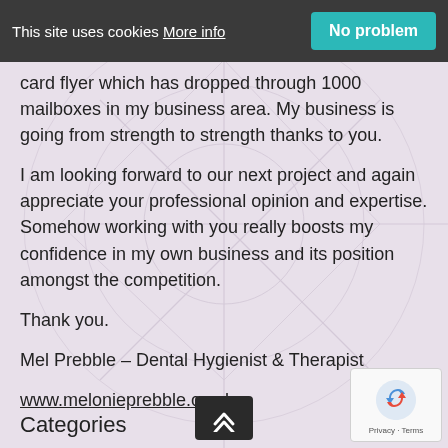This site uses cookies More info  No problem
card flyer which has dropped through 1000 mailboxes in my business area. My business is going from strength to strength thanks to you.
I am looking forward to our next project and again appreciate your professional opinion and expertise. Somehow working with you really boosts my confidence in my own business and its position amongst the competition.
Thank you.
Mel Prebble – Dental Hygienist & Therapist
www.melonieprebble.co.uk
Categories